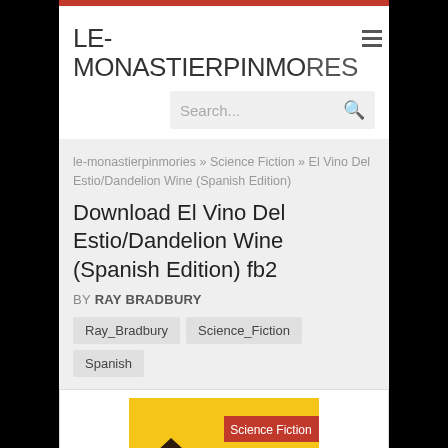LE-MONASTIERPINMORIES
Search...
le-monastierpinmories » Science Fiction » El Vino Del Estio/Dandelion Wine (Spanish Edition)
Download El Vino Del Estio/Dandelion Wine (Spanish Edition) fb2
BY RAY BRADBURY
Ray_Bradbury
Science_Fiction
Spanish
[Figure (illustration): Book cover for El Vino Del Estio/Dandelion Wine Spanish Edition with yellow background, Science Fiction badge in red, and a house illustration]